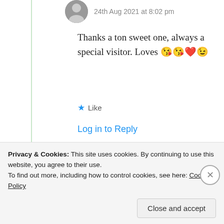24th Aug 2021 at 8:02 pm
Thanks a ton sweet one, always a special visitor. Loves 😘😘❤️😉
★ Like
Log in to Reply
Carla Milho
Privacy & Cookies: This site uses cookies. By continuing to use this website, you agree to their use.
To find out more, including how to control cookies, see here: Cookie Policy
Close and accept